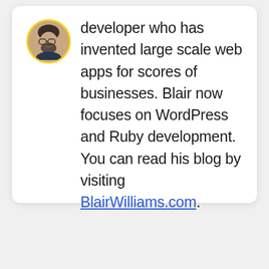[Figure (photo): Circular avatar photo of a bearded man with glasses, outlined with a yellow border]
developer who has invented large scale web apps for scores of businesses. Blair now focuses on WordPress and Ruby development. You can read his blog by visiting BlairWilliams.com.